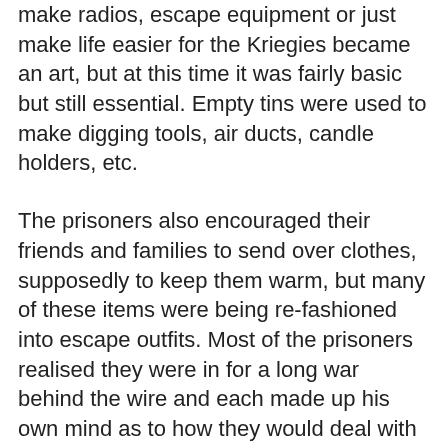make radios, escape equipment or just make life easier for the Kriegies became an art, but at this time it was fairly basic but still essential. Empty tins were used to make digging tools, air ducts, candle holders, etc.
The prisoners also encouraged their friends and families to send over clothes, supposedly to keep them warm, but many of these items were being re-fashioned into escape outfits. Most of the prisoners realised they were in for a long war behind the wire and each made up his own mind as to how they would deal with this.
The road running along one side of the camp was a regular route used by the German forces moving around the countryside and it soon become apparent to all the prisoners that as the